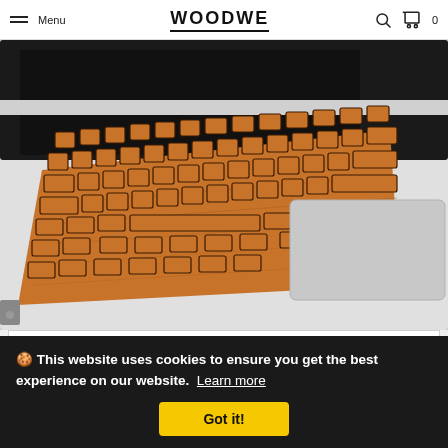Menu | WOODWE | Search | Cart 0
[Figure (photo): A laptop with a wooden keyboard cover/skin showing engraved keys, placed on a white MacBook-style laptop body viewed from above at an angle. The wood is warm brown with dark engraved key labels.]
USA layout
🍪 This website uses cookies to ensure you get the best experience on our website. Learn more
Got it!